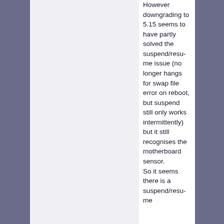However downgrading to 5.15 seems to have partly solved the suspend/resume issue (no longer hangs for swap file error on reboot, but suspend still only works intermittently)  but it still recognises the motherboard sensor.
So it seems there is a suspend/resume